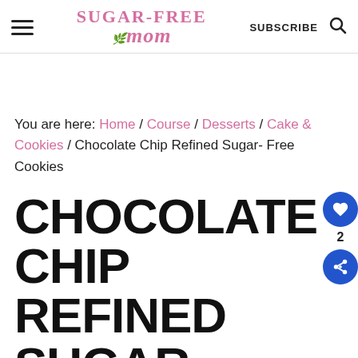Sugar-Free Mom — SUBSCRIBE
You are here: Home / Course / Desserts / Cake & Cookies / Chocolate Chip Refined Sugar- Free Cookies
CHOCOLATE CHIP REFINED SUGAR-FREE COOKIES
December 8, 2011 by Brenda 18